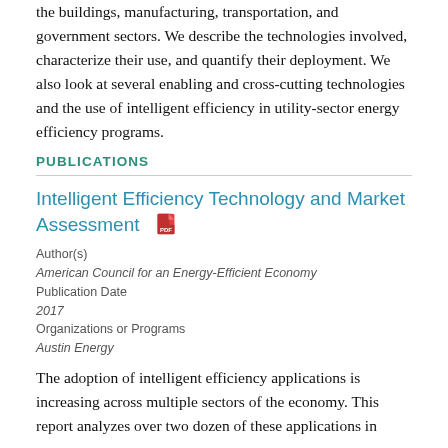the buildings, manufacturing, transportation, and government sectors. We describe the technologies involved, characterize their use, and quantify their deployment. We also look at several enabling and cross-cutting technologies and the use of intelligent efficiency in utility-sector energy efficiency programs.
PUBLICATIONS
Intelligent Efficiency Technology and Market Assessment
Author(s)
American Council for an Energy-Efficient Economy
Publication Date
2017
Organizations or Programs
Austin Energy
The adoption of intelligent efficiency applications is increasing across multiple sectors of the economy. This report analyzes over two dozen of these applications in